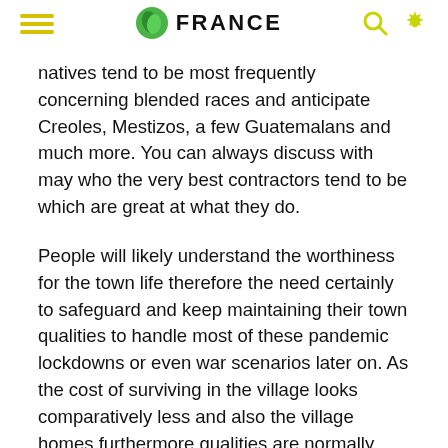FRANCE
natives tend to be most frequently concerning blended races and anticipate Creoles, Mestizos, a few Guatemalans and much more. You can always discuss with may who the very best contractors tend to be which are great at what they do.
People will likely understand the worthiness for the town life therefore the need certainly to safeguard and keep maintaining their town qualities to handle most of these pandemic lockdowns or even war scenarios later on. As the cost of surviving in the village looks comparatively less and also the village homes furthermore qualities are normally larger sufficient to keep up some sort of public distancing. This Can increase the interest in town properties while the